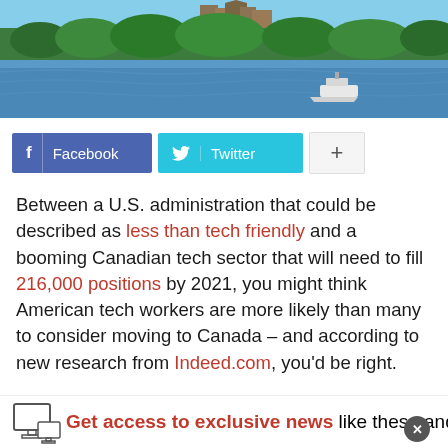[Figure (photo): Aerial/waterfront photo of Ottawa with green trees, river, and Parliament buildings in background with a boat on the water]
[Figure (infographic): Social share buttons: Facebook (blue), Twitter (cyan), and a plus button (grey)]
Between a U.S. administration that could be described as less than tech friendly and a booming Canadian tech sector that will need to fill 216,000 positions by 2021, you might think American tech workers are more likely than many to consider moving to Canada – and according to new research from Indeed.com, you'd be right.
Get access to exclusive news like these and more